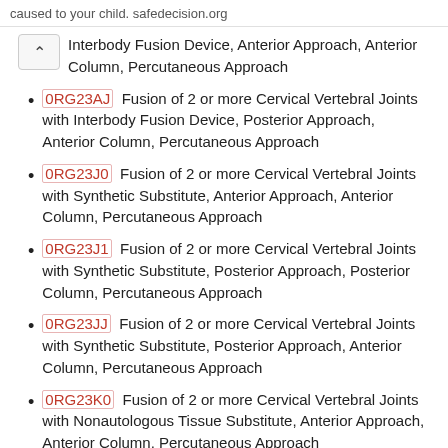caused to your child. safedecision.org
Interbody Fusion Device, Anterior Approach, Anterior Column, Percutaneous Approach
0RG23AJ  Fusion of 2 or more Cervical Vertebral Joints with Interbody Fusion Device, Posterior Approach, Anterior Column, Percutaneous Approach
0RG23J0  Fusion of 2 or more Cervical Vertebral Joints with Synthetic Substitute, Anterior Approach, Anterior Column, Percutaneous Approach
0RG23J1  Fusion of 2 or more Cervical Vertebral Joints with Synthetic Substitute, Posterior Approach, Posterior Column, Percutaneous Approach
0RG23JJ  Fusion of 2 or more Cervical Vertebral Joints with Synthetic Substitute, Posterior Approach, Anterior Column, Percutaneous Approach
0RG23K0  Fusion of 2 or more Cervical Vertebral Joints with Nonautologous Tissue Substitute, Anterior Approach, Anterior Column, Percutaneous Approach
0RG23K1  Fusion of 2 or more Cervical Vertebral Joints with